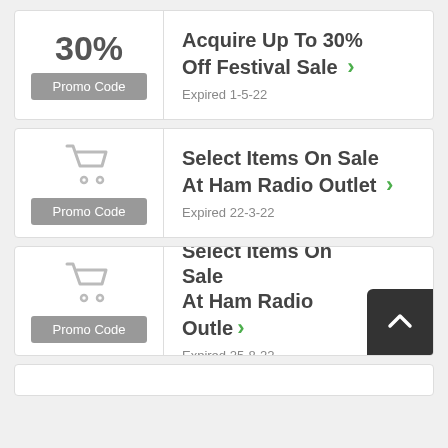30%
Promo Code
Acquire Up To 30% Off Festival Sale
Expired 1-5-22
[Figure (illustration): Shopping cart icon]
Promo Code
Select Items On Sale At Ham Radio Outlet
Expired 22-3-22
[Figure (illustration): Shopping cart icon]
Promo Code
Select Items On Sale At Ham Radio Outlet
Expired 25-8-22